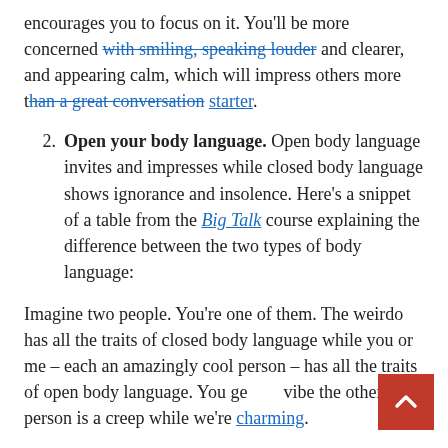encourages you to focus on it. You'll be more concerned with smiling, speaking louder and clearer, and appearing calm, which will impress others more than a great conversation starter.
2. Open your body language. Open body language invites and impresses while closed body language shows ignorance and insolence. Here's a snippet of a table from the Big Talk course explaining the difference between the two types of body language:
Imagine two people. You're one of them. The weirdo has all the traits of closed body language while you or me – each an amazingly cool person – has all the traits of open body language. You get the vibe the other person is a creep while we're charming.